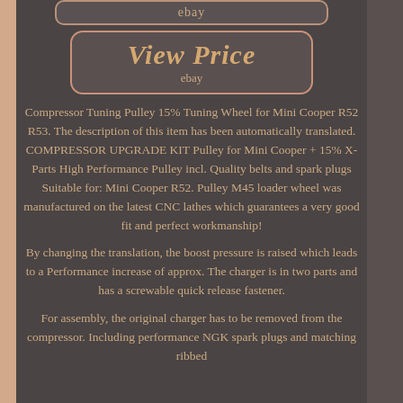[Figure (screenshot): Top eBay bar with 'ebay' text in a rounded rectangle]
[Figure (screenshot): View Price button with ebay label, rounded rectangle with rose-gold border]
Compressor Tuning Pulley 15% Tuning Wheel for Mini Cooper R52 R53. The description of this item has been automatically translated. COMPRESSOR UPGRADE KIT Pulley for Mini Cooper + 15% X-Parts High Performance Pulley incl. Quality belts and spark plugs Suitable for: Mini Cooper R52. Pulley M45 loader wheel was manufactured on the latest CNC lathes which guarantees a very good fit and perfect workmanship!
By changing the translation, the boost pressure is raised which leads to a Performance increase of approx. The charger is in two parts and has a screwable quick release fastener.
For assembly, the original charger has to be removed from the compressor. Including performance NGK spark plugs and matching ribbed